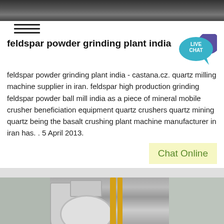[Figure (photo): Industrial/mining machinery scene, dark tones]
feldspar powder grinding plant india
feldspar powder grinding plant india - castana.cz. quartz milling machine supplier in iran. feldspar high production grinding feldspar powder ball mill india as a piece of mineral mobile crusher beneficiation equipment quartz crushers quartz mining quartz being the basalt crushing plant machine manufacturer in iran has. . 5 April 2013.
[Figure (photo): Industrial grinding/milling plant equipment, silos and machinery]